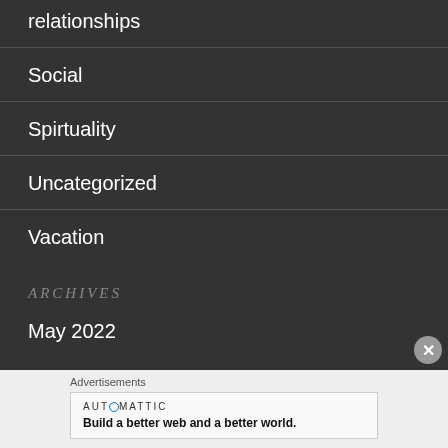relationships
Social
Spirtuality
Uncategorized
Vacation
ARCHIVES
May 2022
Advertisements
AUTOMATTIC
Build a better web and a better world.